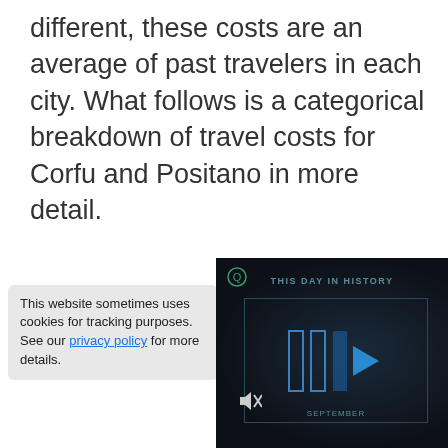different, these costs are an average of past travelers in each city. What follows is a categorical breakdown of travel costs for Corfu and Positano in more detail.
[Figure (screenshot): A dark-themed video widget showing 'THIS DAY IN HISTORY' with blue play/pause button icons and a mute icon, partially overlapping a cookie notice banner.]
This website sometimes uses cookies for tracking purposes. See our privacy policy for more details.